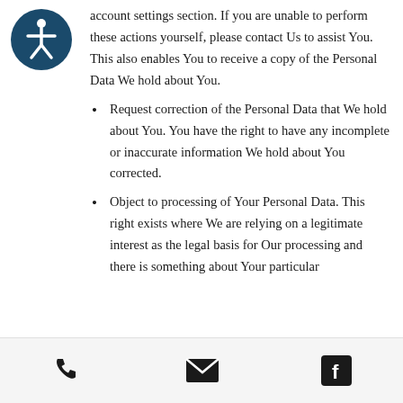[Figure (logo): Accessibility icon: white stick figure person in a dark teal/navy circle]
account settings section. If you are unable to perform these actions yourself, please contact Us to assist You. This also enables You to receive a copy of the Personal Data We hold about You.
Request correction of the Personal Data that We hold about You. You have the right to have any incomplete or inaccurate information We hold about You corrected.
Object to processing of Your Personal Data. This right exists where We are relying on a legitimate interest as the legal basis for Our processing and there is something about Your particular
Phone | Email | Facebook